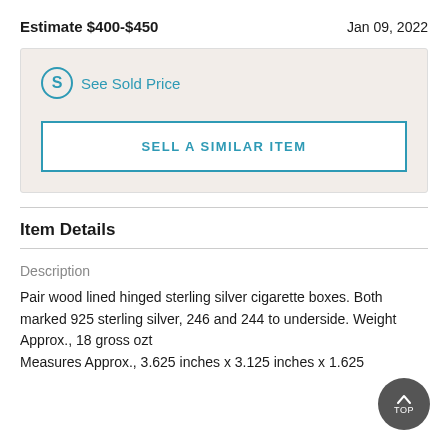Estimate $400-$450
Jan 09, 2022
See Sold Price
SELL A SIMILAR ITEM
Item Details
Description
Pair wood lined hinged sterling silver cigarette boxes. Both marked 925 sterling silver, 246 and 244 to underside. Weight Approx., 18 gross ozt
Measures Approx., 3.625 inches x 3.125 inches x 1.625